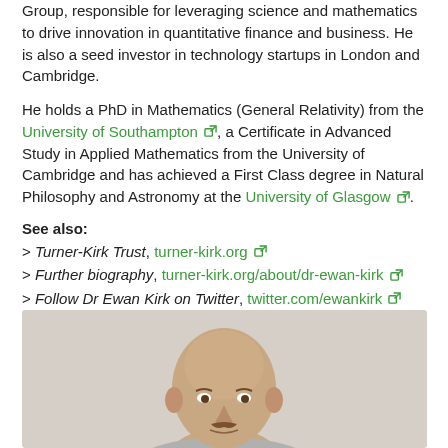Group, responsible for leveraging science and mathematics to drive innovation in quantitative finance and business. He is also a seed investor in technology startups in London and Cambridge.
He holds a PhD in Mathematics (General Relativity) from the University of Southampton, a Certificate in Advanced Study in Applied Mathematics from the University of Cambridge and has achieved a First Class degree in Natural Philosophy and Astronomy at the University of Glasgow.
See also:
> Turner-Kirk Trust, turner-kirk.org
> Further biography, turner-kirk.org/about/dr-ewan-kirk
> Follow Dr Ewan Kirk on Twitter, twitter.com/ewankirk
[Figure (photo): Portrait photo of Dr Ewan Kirk, a bald man with a mustache, shown from shoulders up against a light background.]